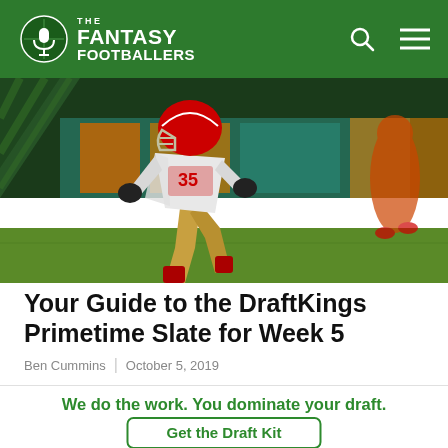The Fantasy Footballers
[Figure (photo): NFL player in San Francisco 49ers uniform running on field during game]
Your Guide to the DraftKings Primetime Slate for Week 5
Ben Cummins | October 5, 2019
We do the work. You dominate your draft.
Get the Draft Kit